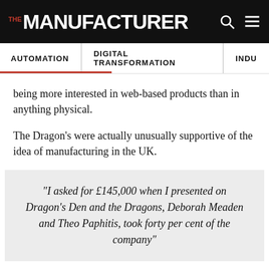THE MANUFACTURER | AUTOMATION | DIGITAL TRANSFORMATION | INDU
being more interested in web-based products than in anything physical.
The Dragon's were actually unusually supportive of the idea of manufacturing in the UK.
“I asked for £145,000 when I presented on Dragon’s Den and the Dragons, Deborah Meaden and Theo Paphitis, took forty per cent of the company”